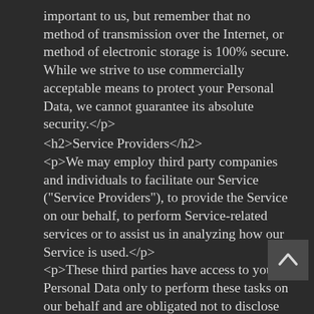important to us, but remember that no method of transmission over the Internet, or method of electronic storage is 100% secure. While we strive to use commercially acceptable means to protect your Personal Data, we cannot guarantee its absolute security.</p>
<h2>Service Providers</h2>
<p>We may employ third party companies and individuals to facilitate our Service ("Service Providers"), to provide the Service on our behalf, to perform Service-related services or to assist us in analyzing how our Service is used.</p>
<p>These third parties have access to your Personal Data only to perform these tasks on our behalf and are obligated not to disclose or use it for any other purpose.</p>